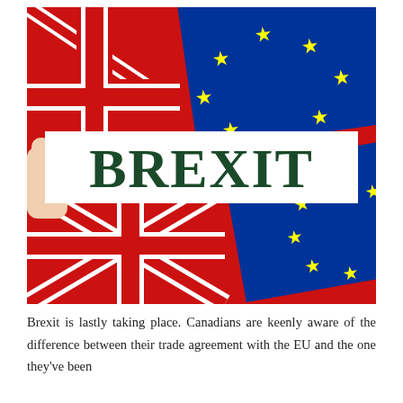[Figure (photo): Photo of a hand holding a white paper sign reading 'BREXIT' in large dark green bold letters, with overlapping UK Union Jack flags and EU blue flags with yellow stars in the background.]
Brexit is lastly taking place. Canadians are keenly aware of the difference between their trade agreement with the EU and the one they've been